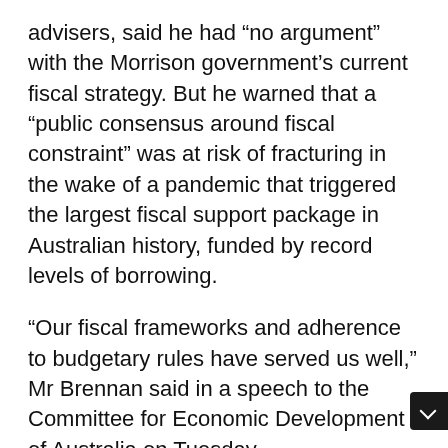advisers, said he had “no argument” with the Morrison government’s current fiscal strategy. But he warned that a “public consensus around fiscal constraint” was at risk of fracturing in the wake of a pandemic that triggered the largest fiscal support package in Australian history, funded by record levels of borrowing.
“Our fiscal frameworks and adherence to budgetary rules have served us well,” Mr Brennan said in a speech to the Committee for Economic Development of Australia on Tuesday.
“They have been backed by a public consensus around fiscal restraint. That consensus has been a significant intangible asset for Australia over the past few decades. If that public consensus fragments, or is undermined by ‘expert’ opinion, then gross debt is unlikely to stabilise at 51 per cent of GD